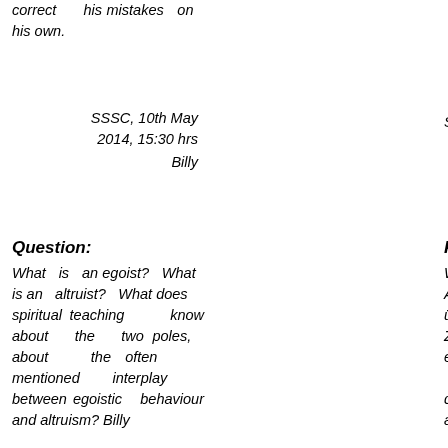correct his mistakes on his own.
SSSC, 10th May 2014, 15:30 hrs
Billy
SSSC, 10. Mai 2014, 15.
Question:
What is an egoist? What is an altruist? What does spiritual teaching know about the two poles, about the often mentioned interplay between egoistic behaviour and altruism? Billy
Frage:
Was ist ein Egoist? Was ein Altruist? Was weiss Geisteslehre über die Pole, über das oft erwä Zusammenspiel zwisc egoistischem Verhalten Altruismus, zu sag Möglicherweise mag diese Problematik in ei Bulletin aufgreifen und Sinne der GL Erklärur